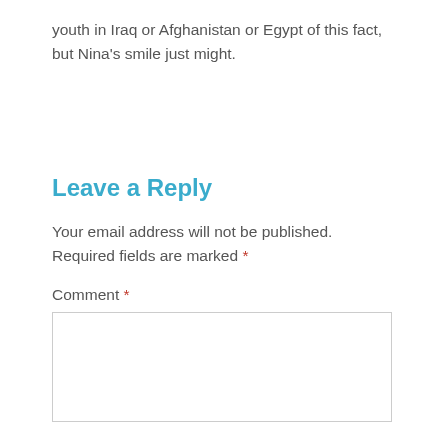youth in Iraq or Afghanistan or Egypt of this fact, but Nina's smile just might.
Leave a Reply
Your email address will not be published. Required fields are marked *
Comment *